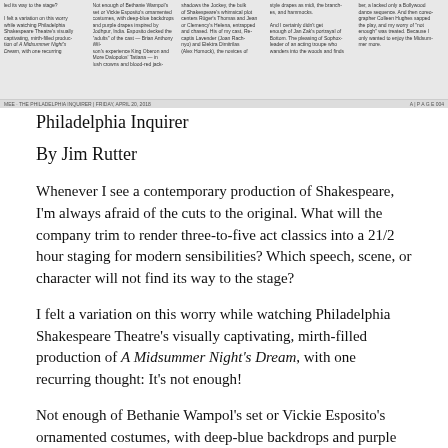[Figure (screenshot): Scanned newspaper clipping showing multiple columns of text from what appears to be a theatre review, with a date bar at the bottom reading 'FRIDAY, APRIL 20, 2018']
Philadelphia Inquirer
By Jim Rutter
Whenever I see a contemporary production of Shakespeare, I'm always afraid of the cuts to the original. What will the company trim to render three-to-five act classics into a 21/2 hour staging for modern sensibilities? Which speech, scene, or character will not find its way to the stage?
I felt a variation on this worry while watching Philadelphia Shakespeare Theatre's visually captivating, mirth-filled production of A Midsummer Night's Dream, with one recurring thought: It's not enough!
Not enough of Bethanie Wampol's set or Vickie Esposito's ornamented costumes, with deep-blue backdrops and purple drapes inspired by Jodhpur, India. Esposito decked the "adults" of the cast —